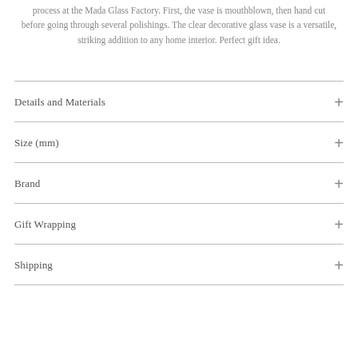process at the Mada Glass Factory. First, the vase is mouthblown, then hand cut before going through several polishings. The clear decorative glass vase is a versatile, striking addition to any home interior. Perfect gift idea.
Details and Materials
Size (mm)
Brand
Gift Wrapping
Shipping